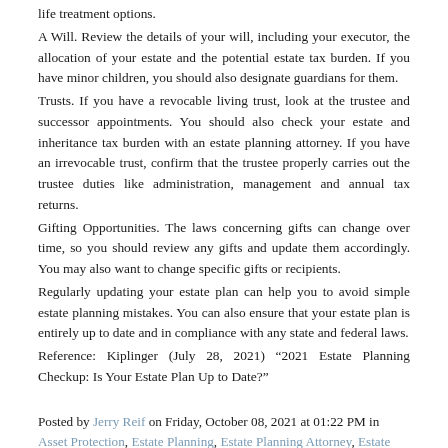life treatment options.
A Will. Review the details of your will, including your executor, the allocation of your estate and the potential estate tax burden. If you have minor children, you should also designate guardians for them.
Trusts. If you have a revocable living trust, look at the trustee and successor appointments. You should also check your estate and inheritance tax burden with an estate planning attorney. If you have an irrevocable trust, confirm that the trustee properly carries out the trustee duties like administration, management and annual tax returns.
Gifting Opportunities. The laws concerning gifts can change over time, so you should review any gifts and update them accordingly. You may also want to change specific gifts or recipients.
Regularly updating your estate plan can help you to avoid simple estate planning mistakes. You can also ensure that your estate plan is entirely up to date and in compliance with any state and federal laws.
Reference: Kiplinger (July 28, 2021) “2021 Estate Planning Checkup: Is Your Estate Plan Up to Date?”
Posted by Jerry Reif on Friday, October 08, 2021 at 01:22 PM in Asset Protection, Estate Planning, Estate Planning Attorney, Estate Tax, Executors, Gift Tax, Guardianship, Health Care Directive, Inheritance, Intestate, Irrevocable Trust, Living Will, Powers of Attorney, Probate, Probate Attorney, Probate Court, Revocable Trust, Tax Planning, Trustee, Trusts, Will